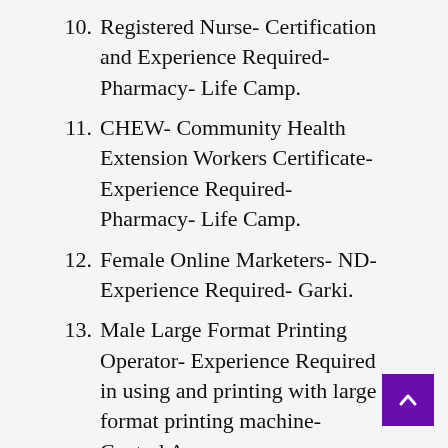10. Registered Nurse- Certification and Experience Required- Pharmacy- Life Camp.
11. CHEW- Community Health Extension Workers Certificate- Experience Required- Pharmacy- Life Camp.
12. Female Online Marketers- ND- Experience Required- Garki.
13. Male Large Format Printing Operator- Experience Required in using and printing with large format printing machine- Central Area.
14. Male Shawama Maker- Experience Required- Maraba.
15. Calabar Cook- Experience Required-